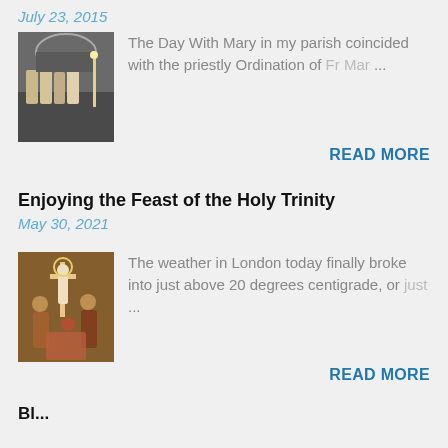July 23, 2015
[Figure (photo): Photo of priests in a cathedral during an ordination ceremony]
The Day With Mary in my parish coincided with the priestly Ordination of Fr Mar ...
READ MORE
Enjoying the Feast of the Holy Trinity
May 30, 2021
[Figure (photo): Religious painting depicting the Holy Trinity with crucifixion scene]
The weather in London today finally broke into just above 20 degrees centigrade, or just ...
READ MORE
Bl...